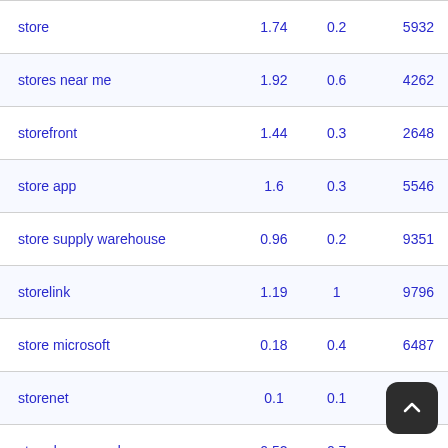| store | 1.74 | 0.2 | 5932 |
| stores near me | 1.92 | 0.6 | 4262 |
| storefront | 1.44 | 0.3 | 2648 |
| store app | 1.6 | 0.3 | 5546 |
| store supply warehouse | 0.96 | 0.2 | 9351 |
| storelink | 1.19 | 1 | 9796 |
| store microsoft | 0.18 | 0.4 | 6487 |
| storenet | 0.1 | 0.1 | 3924 |
| stored passwords | 0.52 | 0.7 |  |